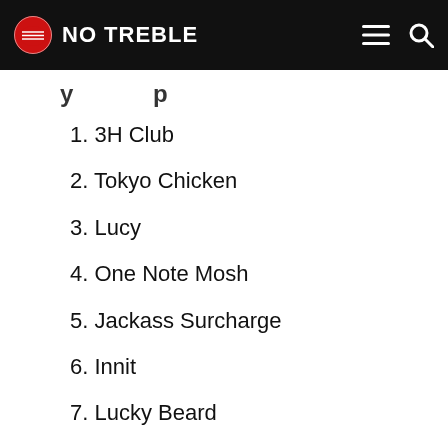NO TREBLE
1. 3H Club
2. Tokyo Chicken
3. Lucy
4. One Note Mosh
5. Jackass Surcharge
6. Innit
7. Lucky Beard
8. Daitu